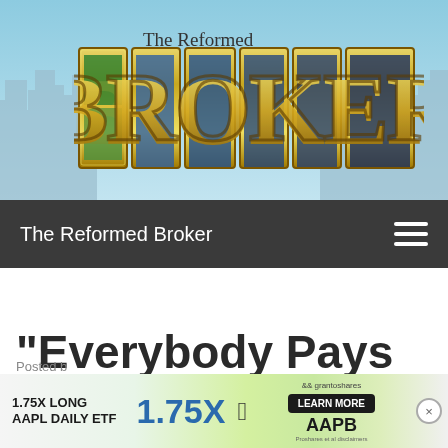[Figure (screenshot): The Reformed Broker website header with decorative 3D gold letter BROKER text on a blue city skyline background]
The Reformed Broker
"Everybody Pays Something"
[Figure (other): Advertisement banner: 1.75X LONG AAPL DAILY ETF, 1.75X, Apple logo, LEARN MORE button, AAPB, grantoshares logo]
Posted b